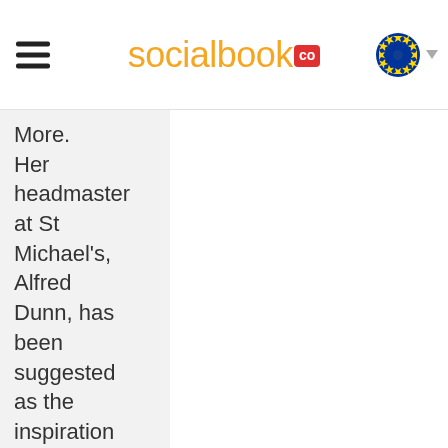socialbook CO
More. Her headmaster at St Michael's, Alfred Dunn, has been suggested as the inspiration for the Harry Potter headmaster